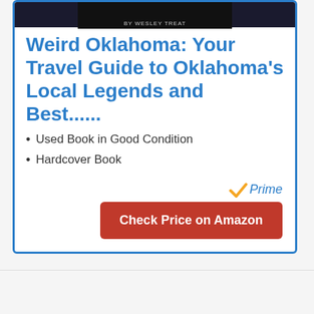[Figure (photo): Book cover image showing dark background with author name 'By Wesley Treat']
Weird Oklahoma: Your Travel Guide to Oklahoma's Local Legends and Best......
Used Book in Good Condition
Hardcover Book
[Figure (logo): Amazon Prime logo with orange checkmark and blue italic 'Prime' text]
Check Price on Amazon